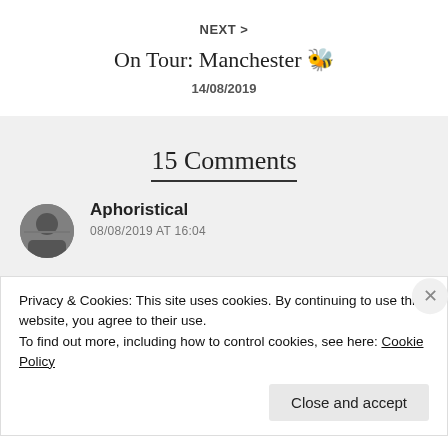NEXT >
On Tour: Manchester 🐝
14/08/2019
15 Comments
Aphoristical
08/08/2019 AT 16:04
Privacy & Cookies: This site uses cookies. By continuing to use this website, you agree to their use.
To find out more, including how to control cookies, see here: Cookie Policy
Close and accept